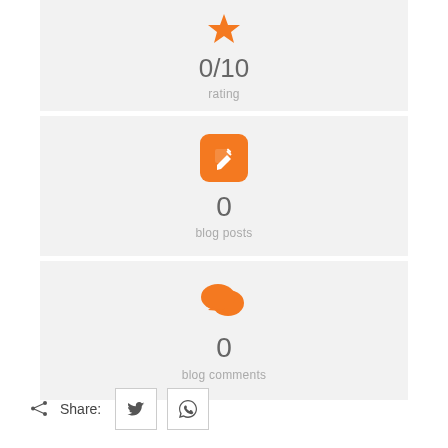[Figure (infographic): Orange bookmark icon with 0/10 rating stat card]
0/10
rating
[Figure (infographic): Orange pencil/edit icon with 0 blog posts stat card]
0
blog posts
[Figure (infographic): Orange speech bubbles icon with 0 blog comments stat card]
0
blog comments
Share: